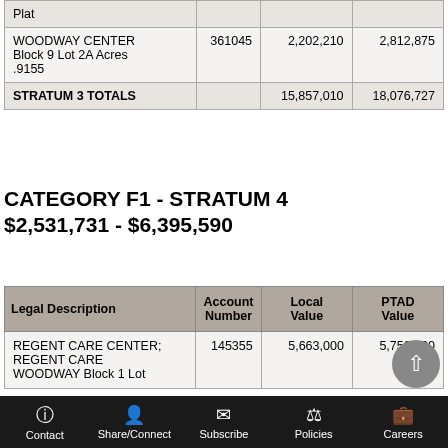| Legal Description | Account Number | Local Value | PTAD Value |
| --- | --- | --- | --- |
| Plat |  |  |  |
| WOODWAY CENTER Block 9 Lot 2A Acres .9155 | 361045 | 2,202,210 | 2,812,875 |
| STRATUM 3 TOTALS |  | 15,857,010 | 18,076,727 |
CATEGORY F1 - STRATUM 4 $2,531,731 - $6,395,590
| Legal Description | Account Number | Local Value | PTAD Value |
| --- | --- | --- | --- |
| REGENT CARE CENTER; REGENT CARE WOODWAY Block 1 Lot | 145355 | 5,663,000 | 5,758,760 |
Contact  Share/Connect  Subscribe  Policies  Careers